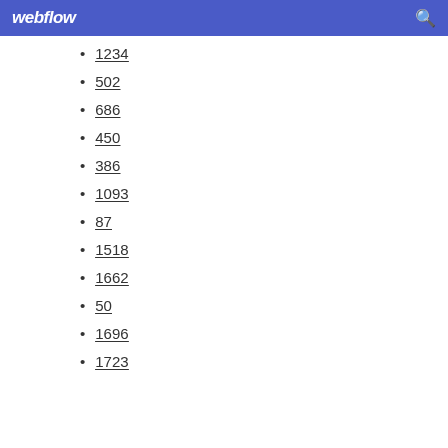webflow
1234
502
686
450
386
1093
87
1518
1662
50
1696
1723